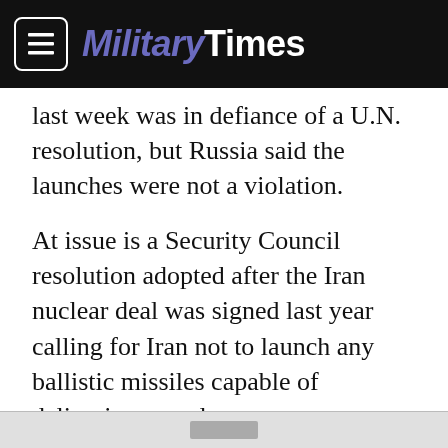MilitaryTimes
last week was in defiance of a U.N. resolution, but Russia said the launches were not a violation.
At issue is a Security Council resolution adopted after the Iran nuclear deal was signed last year calling for Iran not to launch any ballistic missiles capable of delivering a nuclear weapon.